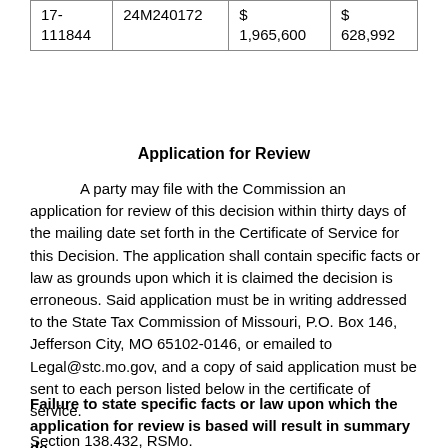| 17-
111844 | 24M240172 | $
1,965,600 | $
628,992 |
Application for Review
A party may file with the Commission an application for review of this decision within thirty days of the mailing date set forth in the Certificate of Service for this Decision. The application shall contain specific facts or law as grounds upon which it is claimed the decision is erroneous. Said application must be in writing addressed to the State Tax Commission of Missouri, P.O. Box 146, Jefferson City, MO 65102-0146, or emailed to Legal@stc.mo.gov, and a copy of said application must be sent to each person listed below in the certificate of service.
Failure to state specific facts or law upon which the application for review is based will result in summary de
Section 138.432, RSMo.